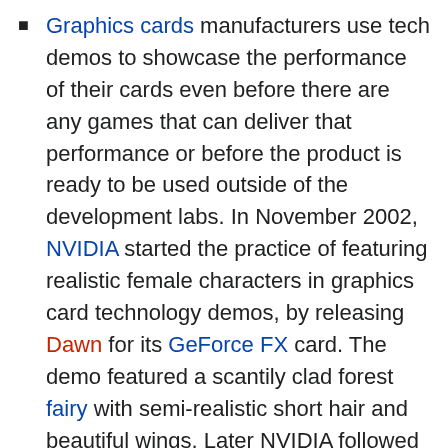Graphics cards manufacturers use tech demos to showcase the performance of their cards even before there are any games that can deliver that performance or before the product is ready to be used outside of the development labs. In November 2002, NVIDIA started the practice of featuring realistic female characters in graphics card technology demos, by releasing Dawn for its GeForce FX card. The demo featured a scantily clad forest fairy with semi-realistic short hair and beautiful wings. Later NVIDIA followed with similar, new demos and ATI Technologies joined the race.
Being by nature much less complex than complete games (that have to include dynamic physics modelling, audio engines, etc.), technology demos for graphics can deliver substantially better image quality, making the general look of games lag several years behind video card technology demos. For example, the PlayStation 2 demos